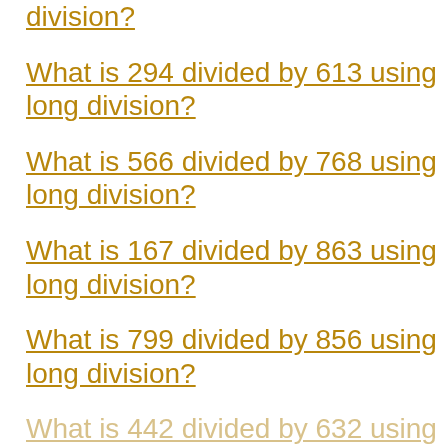division?
What is 294 divided by 613 using long division?
What is 566 divided by 768 using long division?
What is 167 divided by 863 using long division?
What is 799 divided by 856 using long division?
What is 442 divided by 632 using long division?